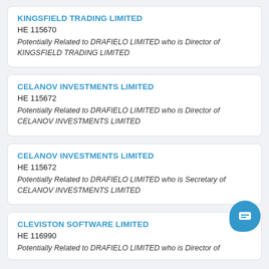KINGSFIELD TRADING LIMITED
HE 115670
Potentially Related to DRAFIELO LIMITED who is Director of KINGSFIELD TRADING LIMITED
CELANOV INVESTMENTS LIMITED
HE 115672
Potentially Related to DRAFIELO LIMITED who is Director of CELANOV INVESTMENTS LIMITED
CELANOV INVESTMENTS LIMITED
HE 115672
Potentially Related to DRAFIELO LIMITED who is Secretary of CELANOV INVESTMENTS LIMITED
CLEVISTON SOFTWARE LIMITED
HE 116990
Potentially Related to DRAFIELO LIMITED who is Director of